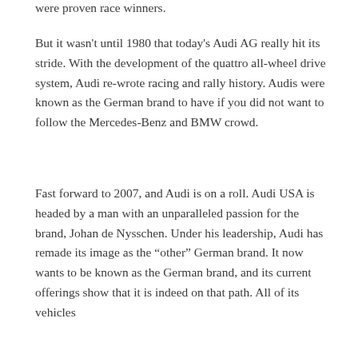were proven race winners.
But it wasn't until 1980 that today's Audi AG really hit its stride. With the development of the quattro all-wheel drive system, Audi re-wrote racing and rally history. Audis were known as the German brand to have if you did not want to follow the Mercedes-Benz and BMW crowd.
Fast forward to 2007, and Audi is on a roll. Audi USA is headed by a man with an unparalleled passion for the brand, Johan de Nysschen. Under his leadership, Audi has remade its image as the “other” German brand. It now wants to be known as the German brand, and its current offerings show that it is indeed on that path. All of its vehicles